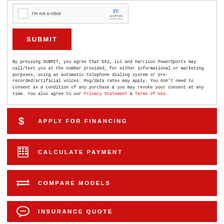[Figure (screenshot): reCAPTCHA widget with checkbox labeled I'm not a robot]
SUBMIT
By pressing SUBMIT, you agree that DX1, LLC and Harrison PowerSports may call/text you at the number provided, for either informational or marketing purposes, using an automatic telephone dialing system or pre-recorded/artificial voices. Msg/data rates may apply. You don't need to consent as a condition of any purchase & you may revoke your consent at any time. You also agree to our Privacy Statement & Terms of Use.
APPLY FOR FINANCING
CALCULATE PAYMENT
COMPARE MODELS
INSURANCE QUOTE